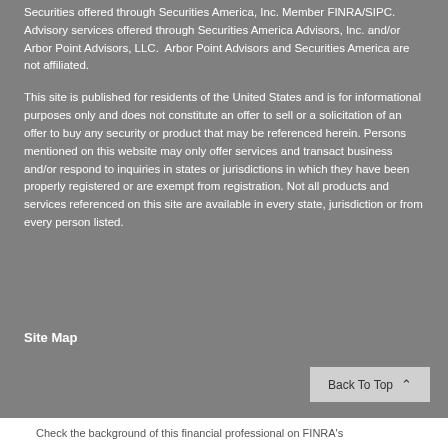Securities offered through Securities America, Inc. Member FINRA/SIPC. Advisory services offered through Securities America Advisors, Inc. and/or Arbor Point Advisors, LLC.  Arbor Point Advisors and Securities America are not affiliated.
This site is published for residents of the United States and is for informational purposes only and does not constitute an offer to sell or a solicitation of an offer to buy any security or product that may be referenced herein. Persons mentioned on this website may only offer services and transact business and/or respond to inquiries in states or jurisdictions in which they have been properly registered or are exempt from registration. Not all products and services referenced on this site are available in every state, jurisdiction or from every person listed.
Site Map
Check the background of this financial professional on FINRA's